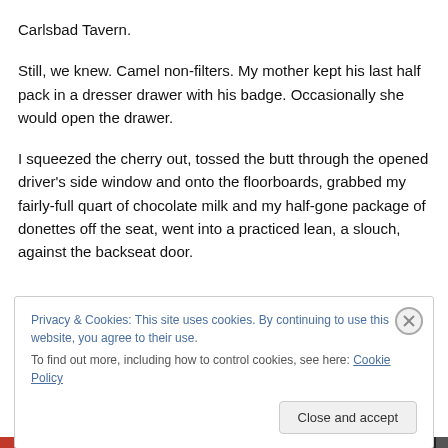Carlsbad Tavern.
Still, we knew. Camel non-filters. My mother kept his last half pack in a dresser drawer with his badge. Occasionally she would open the drawer.
I squeezed the cherry out, tossed the butt through the opened driver’s side window and onto the floorboards, grabbed my fairly-full quart of chocolate milk and my half-gone package of donettes off the seat, went into a practiced lean, a slouch, against the backseat door.
Privacy & Cookies: This site uses cookies. By continuing to use this website, you agree to their use.
To find out more, including how to control cookies, see here: Cookie Policy